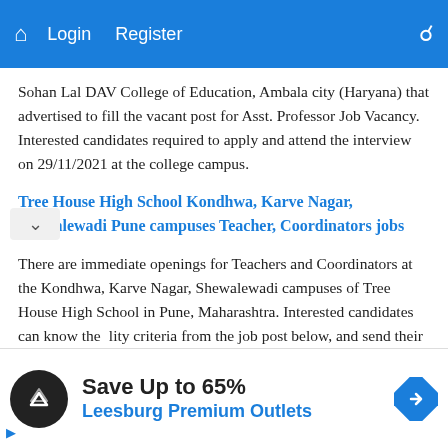Login  Register
Sohan Lal DAV College of Education, Ambala city (Haryana) that advertised to fill the vacant post for Asst. Professor Job Vacancy. Interested candidates required to apply and attend the interview on 29/11/2021 at the college campus.
Tree House High School Kondhwa, Karve Nagar, Shewalewadi Pune campuses Teacher, Coordinators jobs
There are immediate openings for Teachers and Coordinators at the Kondhwa, Karve Nagar, Shewalewadi campuses of Tree House High School in Pune, Maharashtra. Interested candidates can know the eligibility criteria from the job post below, and send their
Save Up to 65%
Leesburg Premium Outlets